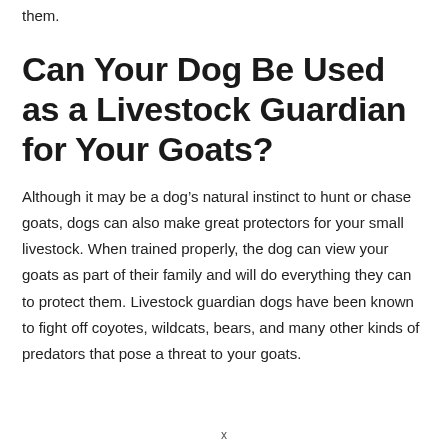them.
Can Your Dog Be Used as a Livestock Guardian for Your Goats?
Although it may be a dog’s natural instinct to hunt or chase goats, dogs can also make great protectors for your small livestock. When trained properly, the dog can view your goats as part of their family and will do everything they can to protect them. Livestock guardian dogs have been known to fight off coyotes, wildcats, bears, and many other kinds of predators that pose a threat to your goats.